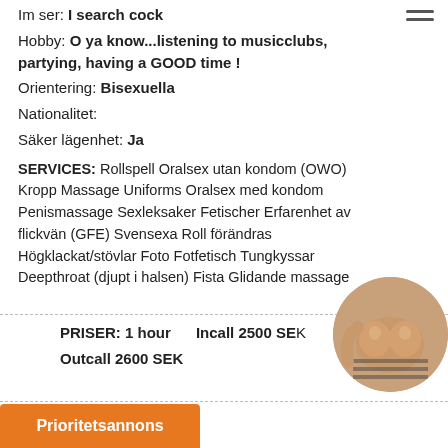Im ser: I search cock
Hobby: O ya know...listening to musicclubs, partying, having a GOOD time !
Orientering: Bisexuella
Nationalitet:
Säker lägenhet: Ja
SERVICES: Rollspell Oralsex utan kondom (OWO) Kropp Massage Uniforms Oralsex med kondom Penismassage Sexleksaker Fetischer Erfarenhet av flickvän (GFE) Svensexa Roll förändras Högklackat/stövlar Foto Fotfetisch Tungkyssar Deepthroat (djupt i halsen) Fista Glidande massage
PRISER: 1 hour   Incall 2500 SEK   Outcall 2600 SEK
[Figure (photo): Circular cropped photo of a person]
Prioritetsannons